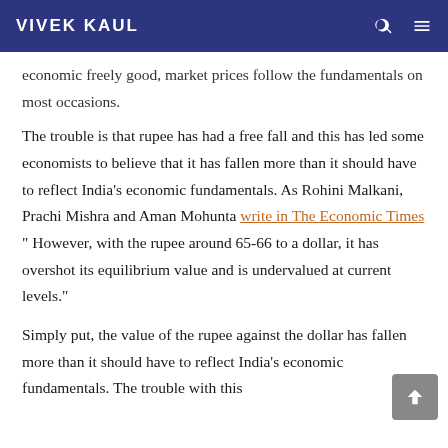VIVEK KAUL
economic freely good, market prices follow the fundamentals on most occasions.
The trouble is that rupee has had a free fall and this has led some economists to believe that it has fallen more than it should have to reflect India's economic fundamentals. As Rohini Malkani, Prachi Mishra and Aman Mohunta write in The Economic Times " However, with the rupee around 65-66 to a dollar, it has overshot its equilibrium value and is undervalued at current levels."
Simply put, the value of the rupee against the dollar has fallen more than it should have to reflect India's economic fundamentals. The trouble with this